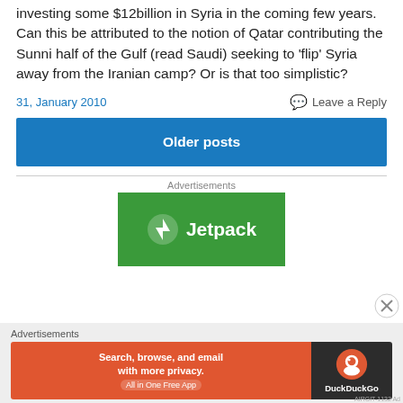investing some $12billion in Syria in the coming few years. Can this be attributed to the notion of Qatar contributing the Sunni half of the Gulf (read Saudi) seeking to ‘flip’ Syria away from the Iranian camp? Or is that too simplistic?
31, January 2010
Leave a Reply
Older posts
[Figure (screenshot): Jetpack advertisement banner with green background, white circle bolt icon and white text 'Jetpack']
[Figure (screenshot): DuckDuckGo advertisement: orange left panel with 'Search, browse, and email with more privacy. All in One Free App' and dark right panel with DuckDuckGo logo]
Advertisements
Advertisements